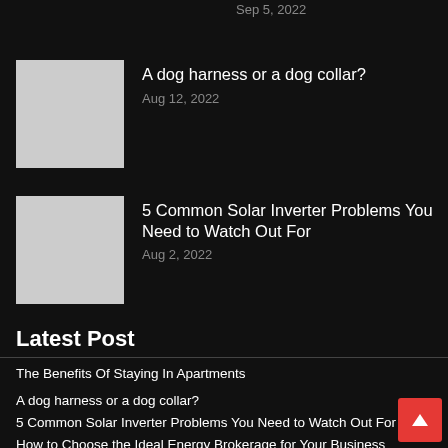Sep 5, 2022
A dog harness or a dog collar?
Aug 12, 2022
5 Common Solar Inverter Problems You Need to Watch Out For
Aug 2, 2022
Latest Post
The Benefits Of Staying In Apartments
A dog harness or a dog collar?
5 Common Solar Inverter Problems You Need to Watch Out For
How to Choose the Ideal Energy Brokerage for Your Business